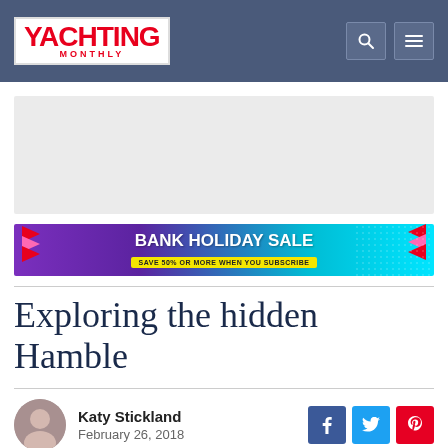Yachting Monthly
[Figure (illustration): Gray placeholder advertisement rectangle]
[Figure (illustration): Bank Holiday Sale banner ad with colorful purple and teal background, triangles, text: BANK HOLIDAY SALE SAVE 50% OR MORE WHEN YOU SUBSCRIBE]
Exploring the hidden Hamble
Katy Stickland
February 26, 2018